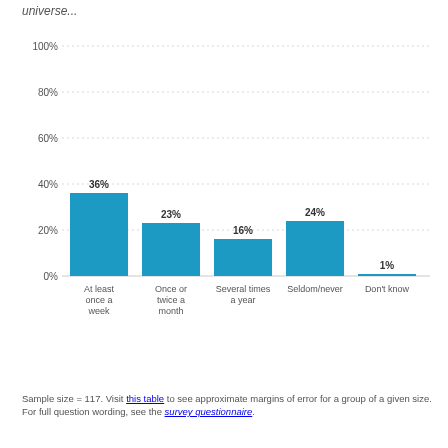universe...
[Figure (bar-chart): ]
Sample size = 117. Visit this table to see approximate margins of error for a group of a given size. For full question wording, see the survey questionnaire.